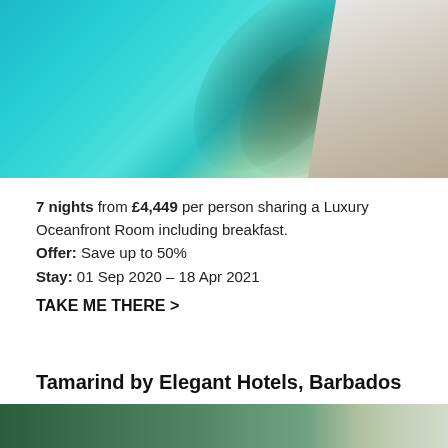[Figure (photo): Aerial view of turquoise Caribbean ocean with palm tree shadows on sandy beach/shoreline, with white buildings visible on the right edge]
7 nights from £4,449 per person sharing a Luxury Oceanfront Room including breakfast. Offer: Save up to 50% Stay: 01 Sep 2020 – 18 Apr 2021
TAKE ME THERE >
Tamarind by Elegant Hotels, Barbados
[Figure (photo): Partial view of tropical hotel grounds with lush green trees]